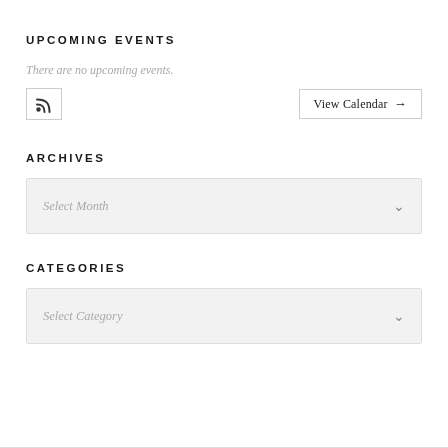UPCOMING EVENTS
There are no upcoming events.
[Figure (other): RSS feed button and View Calendar button row]
ARCHIVES
[Figure (other): Dropdown selector showing 'Select Month' with chevron]
CATEGORIES
[Figure (other): Dropdown selector showing 'Select Category' with chevron]